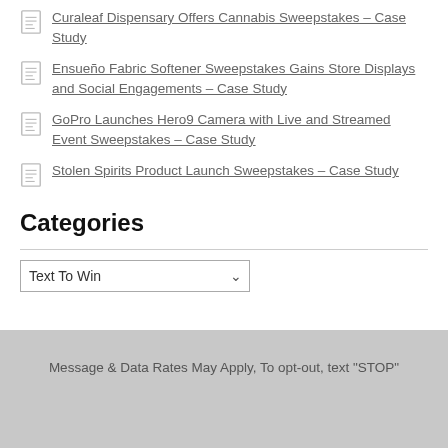Curaleaf Dispensary Offers Cannabis Sweepstakes – Case Study
Ensueño Fabric Softener Sweepstakes Gains Store Displays and Social Engagements – Case Study
GoPro Launches Hero9 Camera with Live and Streamed Event Sweepstakes – Case Study
Stolen Spirits Product Launch Sweepstakes – Case Study
Categories
Text To Win
Message & Data Rates May Apply, To opt-out, text "STOP"